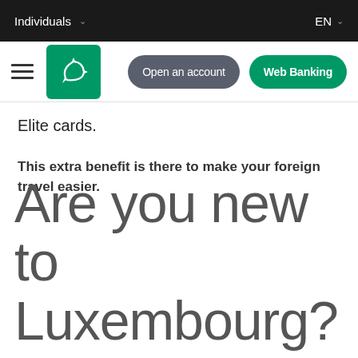Individuals  EN
[Figure (logo): BNP Paribas green square logo with white star arrows, with hamburger menu icon, Open an account button, and Web Banking button]
Elite cards.
This extra benefit is there to make your foreign travel easier.
Are you new to Luxembourg?